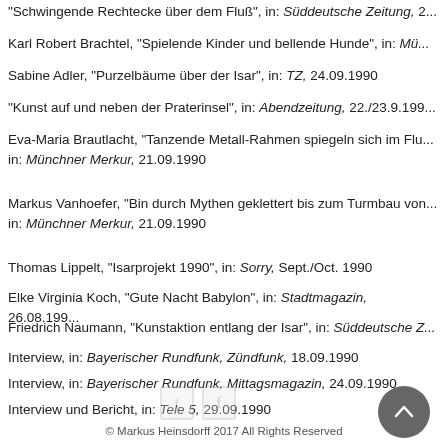"Schwingende Rechtecke über dem Fluß", in: Süddeutsche Zeitung, 2...
Karl Robert Brachtel, "Spielende Kinder und bellende Hunde", in: Mü...
Sabine Adler, "Purzelbäume über der Isar", in: TZ, 24.09.1990
"Kunst auf und neben der Praterinsel", in: Abendzeitung, 22./23.9.1990
Eva-Maria Brautlacht, "Tanzende Metall-Rahmen spiegeln sich im Flu...", in: Münchner Merkur, 21.09.1990
Markus Vanhoefer, "Bin durch Mythen geklettert bis zum Turmbau von...", in: Münchner Merkur, 21.09.1990
Thomas Lippelt, "Isarprojekt 1990", in: Sorry, Sept./Oct. 1990
Elke Virginia Koch, "Gute Nacht Babylon", in: Stadtmagazin, 26.08.199...
Friedrich Naumann, "Kunstaktion entlang der Isar", in: Süddeutsche Z...
Interview, in: Bayerischer Rundfunk, Zündfunk, 18.09.1990
Interview, in: Bayerischer Rundfunk, Mittagsmagazin, 24.09.1990
Interview und Bericht, in: Tele 5, 29.09.1990
© Markus Heinsdorff 2017 All Rights Reserved